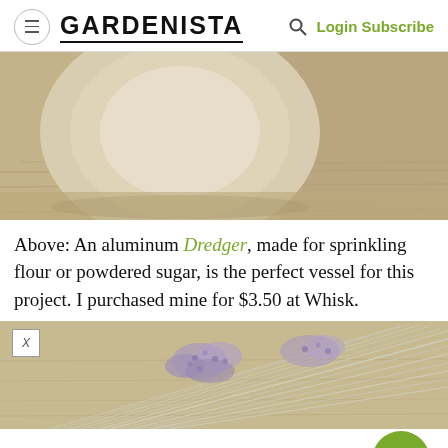GARDENISTA  Login Subscribe
[Figure (photo): Close-up photo of the bottom of a round ceramic or wooden bowl sitting on a wood grain surface, warm tan and brown tones]
Above: An aluminum Dredger, made for sprinkling flour or powdered sugar, is the perfect vessel for this project. I purchased mine for $3.50 at Whisk.
[Figure (photo): Photo of dried lavender bunches lying on a wooden surface, purple flowers with long silver-white stems]